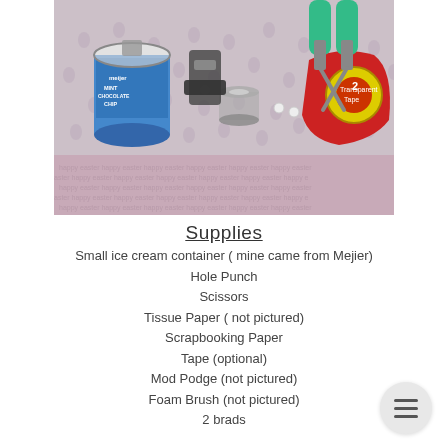[Figure (photo): Photo showing craft supplies on a pink Easter-patterned background: a Meijer Mint Chocolate Chip ice cream container, a hole punch, scissors (green handled), transparent tape dispenser (red), a roll of tape, and small white beads.]
Supplies
Small ice cream container ( mine came from Mejier)
Hole Punch
Scissors
Tissue Paper ( not pictured)
Scrapbooking Paper
Tape (optional)
Mod Podge (not pictured)
Foam Brush (not pictured)
2 brads